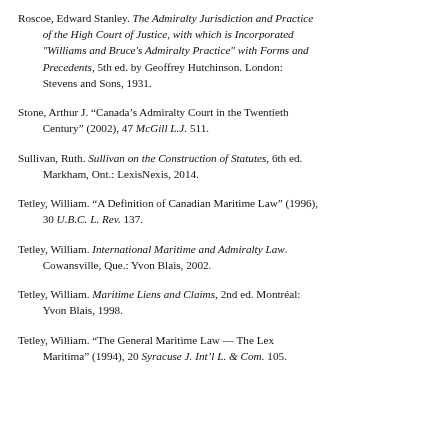Roscoe, Edward Stanley. The Admiralty Jurisdiction and Practice of the High Court of Justice, with which is Incorporated "Williams and Bruce's Admiralty Practice" with Forms and Precedents, 5th ed. by Geoffrey Hutchinson. London: Stevens and Sons, 1931.
Stone, Arthur J. "Canada's Admiralty Court in the Twentieth Century" (2002), 47 McGill L.J. 511.
Sullivan, Ruth. Sullivan on the Construction of Statutes, 6th ed. Markham, Ont.: LexisNexis, 2014.
Tetley, William. "A Definition of Canadian Maritime Law" (1996), 30 U.B.C. L. Rev. 137.
Tetley, William. International Maritime and Admiralty Law. Cowansville, Que.: Yvon Blais, 2002.
Tetley, William. Maritime Liens and Claims, 2nd ed. Montréal: Yvon Blais, 1998.
Tetley, William. "The General Maritime Law — The Lex Maritima" (1994), 20 Syracuse J. Int'l L. & Com. 105.